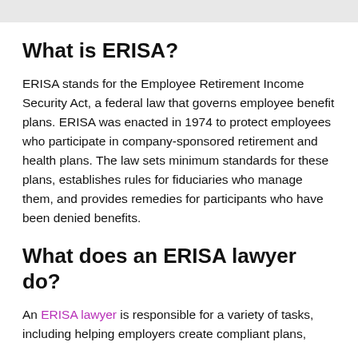What is ERISA?
ERISA stands for the Employee Retirement Income Security Act, a federal law that governs employee benefit plans. ERISA was enacted in 1974 to protect employees who participate in company-sponsored retirement and health plans. The law sets minimum standards for these plans, establishes rules for fiduciaries who manage them, and provides remedies for participants who have been denied benefits.
What does an ERISA lawyer do?
An ERISA lawyer is responsible for a variety of tasks, including helping employers create compliant plans,